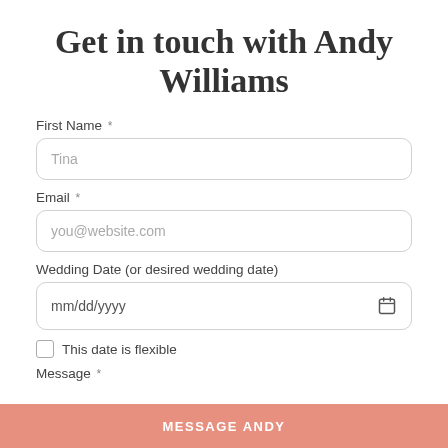Get in touch with Andy Williams
First Name *
Tina
Email *
you@website.com
Wedding Date (or desired wedding date)
mm/dd/yyyy
This date is flexible
Message *